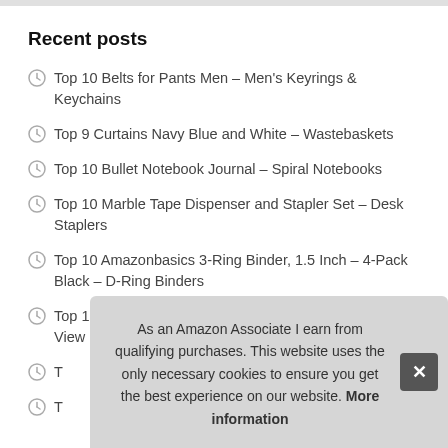Recent posts
Top 10 Belts for Pants Men – Men's Keyrings & Keychains
Top 9 Curtains Navy Blue and White – Wastebaskets
Top 10 Bullet Notebook Journal – Spiral Notebooks
Top 10 Marble Tape Dispenser and Stapler Set – Desk Staplers
Top 10 Amazonbasics 3-Ring Binder, 1.5 Inch – 4-Pack Black – D-Ring Binders
Top 10 1.5 Inch 3 Ring Binder with Clear Pocket Cover – View Bind…
T… Desk…
T…
As an Amazon Associate I earn from qualifying purchases. This website uses the only necessary cookies to ensure you get the best experience on our website. More information